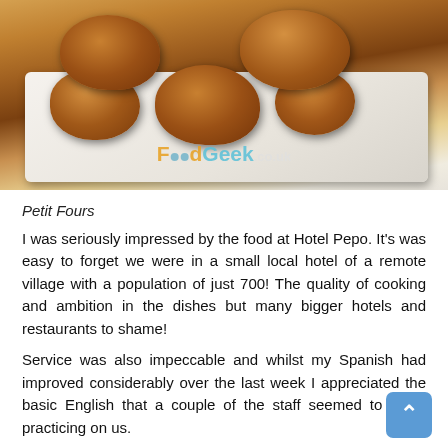[Figure (photo): Photo of fried sugar-dusted petit fours pastries on a white rectangular tray, with FoodGeek.co.uk watermark overlay]
Petit Fours
I was seriously impressed by the food at Hotel Pepo. It's was easy to forget we were in a small local hotel of a remote village with a population of just 700! The quality of cooking and ambition in the dishes but many bigger hotels and restaurants to shame!
Service was also impeccable and whilst my Spanish had improved considerably over the last week I appreciated the basic English that a couple of the staff seemed to enjoy practicing on us.
Overall it was a fitting end to a fantastic week,